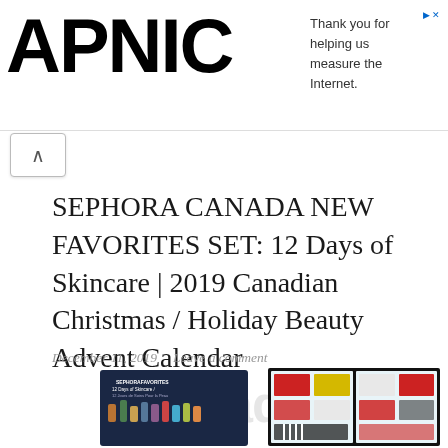APNIC — Thank you for helping us measure the Internet.
SEPHORA CANADA NEW FAVORITES SET: 12 Days of Skincare | 2019 Canadian Christmas / Holiday Beauty Advent Calendar
December 11, 2019   Leave a comment
[Figure (photo): Two product images: left shows a closed box of Sephora Favorites 12 Days of Skincare set with beauty products displayed in front; right shows the open advent calendar box with various skincare products in red, white, and striped packaging.]